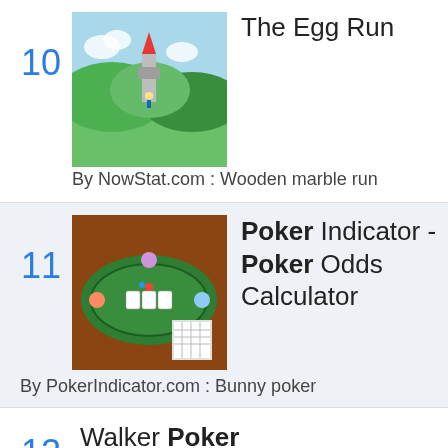10 - The Egg Run - By NowStat.com : Wooden marble run
11 - Poker Indicator - Poker Odds Calculator - By PokerIndicator.com : Bunny poker
12 - Walker Poker - By Poker Club : Bunny poker
13 - Jaguar Softwares Online